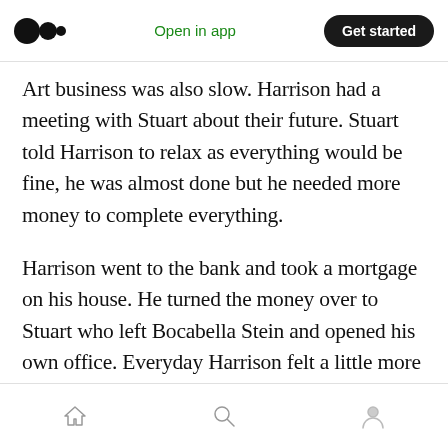Open in app | Get started
Art business was also slow. Harrison had a meeting with Stuart about their future. Stuart told Harrison to relax as everything would be fine, he was almost done but he needed more money to complete everything.
Harrison went to the bank and took a mortgage on his house. He turned the money over to Stuart who left Bocabella Stein and opened his own office. Everyday Harrison felt a little more nervous and when mortgage rates went up the nerves in his stomach became more acute.
Home | Search | Profile